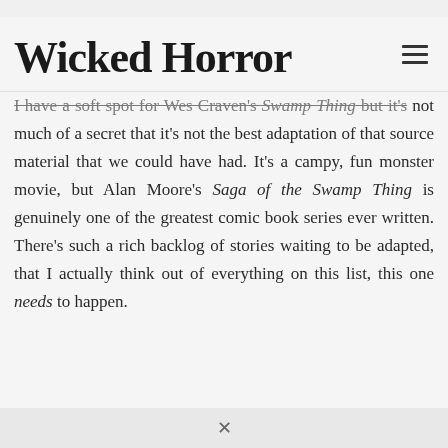Wicked Horror
I have a soft spot for Wes Craven's Swamp Thing but it's not much of a secret that it's not the best adaptation of that source material that we could have had. It's a campy, fun monster movie, but Alan Moore's Saga of the Swamp Thing is genuinely one of the greatest comic book series ever written. There's such a rich backlog of stories waiting to be adapted, that I actually think out of everything on this list, this one needs to happen.